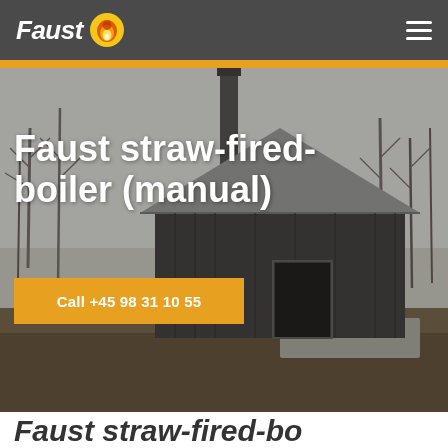Faust [logo] [hamburger menu]
[Figure (photo): Outdoor photo of a dark-colored barn or boiler building with a tall chimney/flue pipe, surrounded by bare winter trees and muddy ground, overcast sky. A Faust straw-fired boiler installation.]
Faust straw-fired-boiler (manual)
Call +45 98 31 10 55
Faust straw-fired-boiler